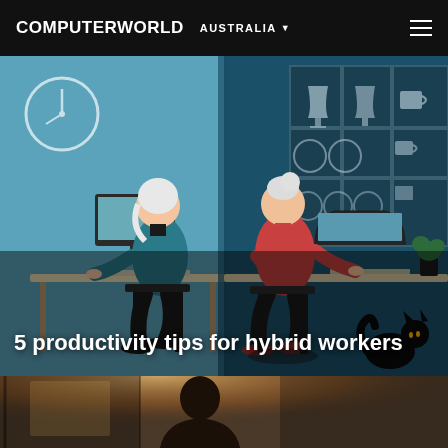COMPUTERWORLD AUSTRALIA
[Figure (illustration): Illustration of two women sitting back-to-back at desks working on computers. Left figure wears teal top working at desktop in office setting with wall clock. Right figure wears red hoodie working on laptop in home setting with kitchen shelves displaying dishes and glassware. A black cat sits at bottom right.]
5 productivity tips for hybrid workers
[Figure (photo): Partial photo of a person in what appears to be an industrial or warehouse setting with warm backlighting.]